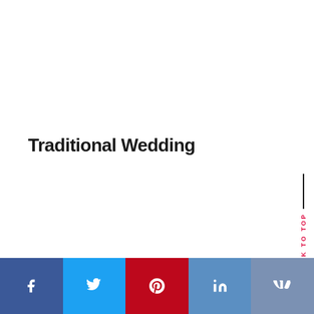Traditional Wedding
BACK TO TOP
[Figure (other): Social media share bar with Facebook, Twitter, Pinterest, LinkedIn, and VK buttons]